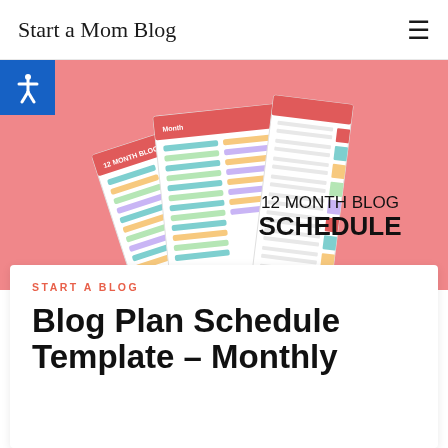Start a Mom Blog
[Figure (screenshot): Hero banner with pink background showing colorful blog schedule planner sheets fanned out on the left, and text '12 MONTH BLOG SCHEDULE' on the right in bold black lettering]
START A BLOG
Blog Plan Schedule Template – Monthly